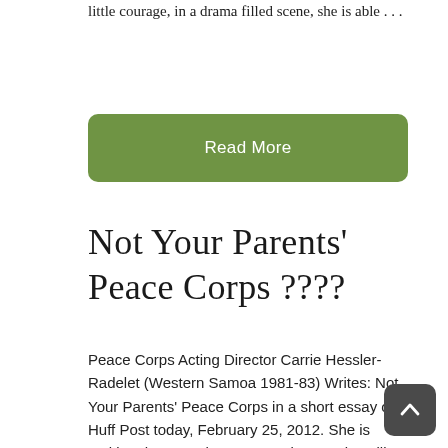little courage, in a drama filled scene, she is able . . .
Read More
Not Your Parents' Peace Corps ????
Peace Corps Acting Director Carrie Hessler-Radelet (Western Samoa 1981-83) Writes: Not Your Parents' Peace Corps in a short essay on Huff Post today, February 25, 2012. She is making the case that PCVs today are “installing solar-powered computer labs to helping communities switch to renewable energy; from linking local entrepreneurs to global markets to developing cellphone text messaging services to answer questions